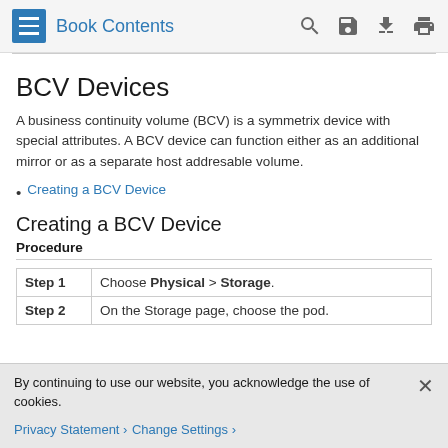Book Contents
BCV Devices
A business continuity volume (BCV) is a symmetrix device with special attributes. A BCV device can function either as an additional mirror or as a separate host addresable volume.
Creating a BCV Device
Creating a BCV Device
Procedure
| Step 1 | Choose Physical > Storage. |
| Step 2 | On the Storage page, choose the pod. |
By continuing to use our website, you acknowledge the use of cookies.
Privacy Statement > Change Settings >